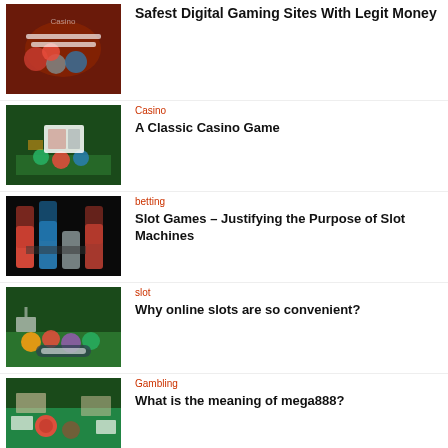[Figure (photo): Casino chips and cards on a roulette table]
Safest Digital Gaming Sites With Legit Money
[Figure (photo): Hands dealing cards over casino chips on green table]
Casino
A Classic Casino Game
[Figure (photo): Stacks of colorful casino chips on dark background]
betting
Slot Games – Justifying the Purpose of Slot Machines
[Figure (photo): Hand pointing at phone surrounded by casino chips on green table]
slot
Why online slots are so convenient?
[Figure (photo): Hand with red casino chip on green felt table]
Gambling
What is the meaning of mega888?